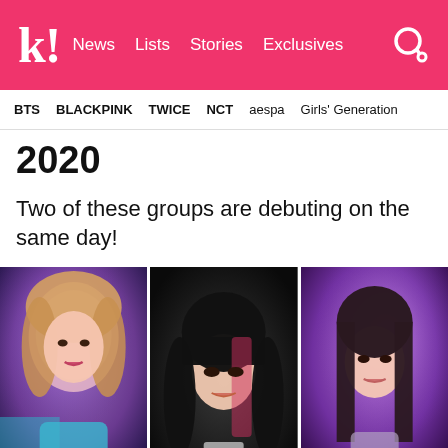k! News Lists Stories Exclusives
BTS BLACKPINK TWICE NCT aespa Girls' Generation
2020
Two of these groups are debuting on the same day!
[Figure (photo): Three K-pop idol women in promotional photos side by side. Left: a woman with blonde/pink hair in a blue/purple outfit. Center: a woman with black hair and bangs against a dark background. Right: a woman with dark straight hair in a purple-toned photo.]